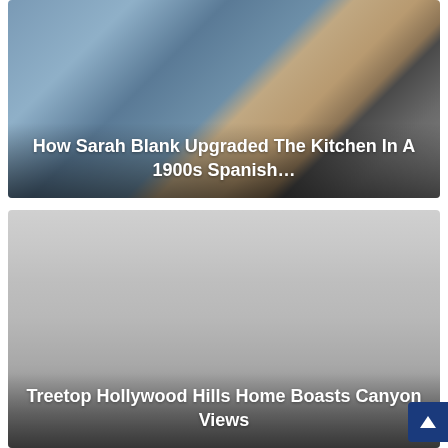[Figure (photo): Kitchen with blue cabinets, wooden butcher block island, and stainless steel professional range. Text overlay reads 'How Sarah Blank Upgraded The Kitchen In A 1900s Spanish...']
How Sarah Blank Upgraded The Kitchen In A 1900s Spanish...
[Figure (photo): Exterior or interior view of a Hollywood Hills home with canyon views, image appears light/washed out gray. Text overlay reads 'Treetop Hollywood Hills Home Boasts Canyon Views']
Treetop Hollywood Hills Home Boasts Canyon Views